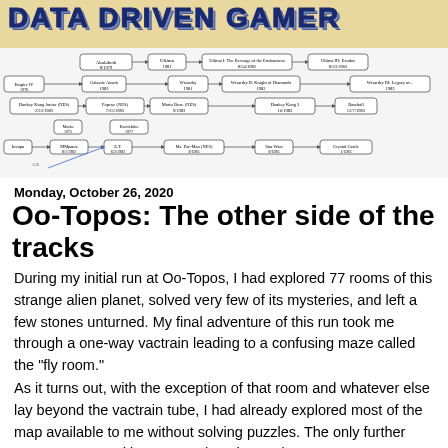DATA DRIVEN GAMER
[Figure (flowchart): A flowchart/timeline diagram showing a network of connected game titles with dates, including Ultima I, Galactic Attack, Wizardry, Donkey Kong Junior, Mario, Excitebike, Ms. Pac-Man, Star Wars, Crystal Castle, and others connected by arrows.]
Monday, October 26, 2020
Oo-Topos: The other side of the tracks
During my initial run at Oo-Topos, I had explored 77 rooms of this strange alien planet, solved very few of its mysteries, and left a few stones unturned. My final adventure of this run took me through a one-way vactrain leading to a confusing maze called the "fly room."
As it turns out, with the exception of that room and whatever else lay beyond the vactrain tube, I had already explored most of the map available to me without solving puzzles. The only further rooms uncovered by my post-hoc thoroughness